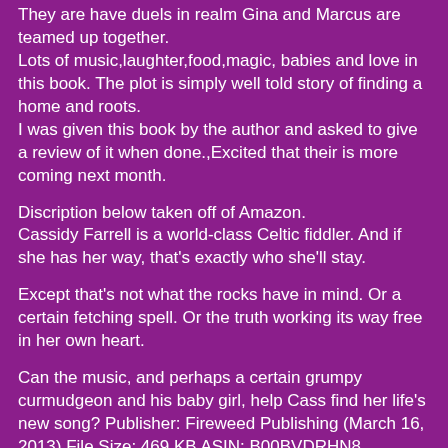They are have duels in realm Gina and Marcus are teamed up together.
Lots of music,laughter,food,magic, babies and love in this book. The plot is simply well told story of finding a home and roots.
I was given this book by the author and asked to give a review of it when done.,Excited that their is more coming next month.
Discription below taken off of Amazon.
Cassidy Farrell is a world-class Celtic fiddler. And if she has her way, that's exactly who she'll stay.
Except that's not what the rocks have in mind. Or a certain fetching spell. Or the truth working its way free in her own heart.
Can the music, and perhaps a certain grumpy curmudgeon and his baby girl, help Cass find her life's new song? Publisher: Fireweed Publishing (March 16, 2013) File Size: 469 KB ASIN: B00BVDRHN8